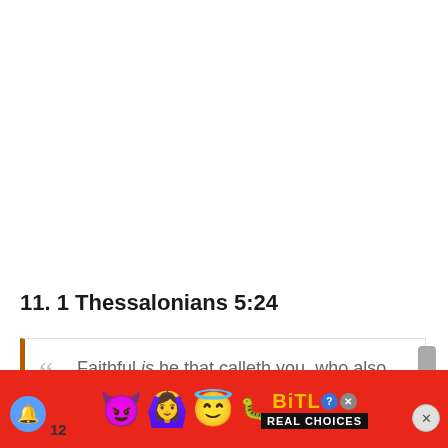11. 1 Thessalonians 5:24
Faithful is he that calleth you, who also will do it.
[Figure (screenshot): Mobile advertisement banner for BitLife game showing emoji characters (devil, woman with raised hands, angel face, and sperm) on a red background with the BitLife logo and 'REAL CHOICES' text]